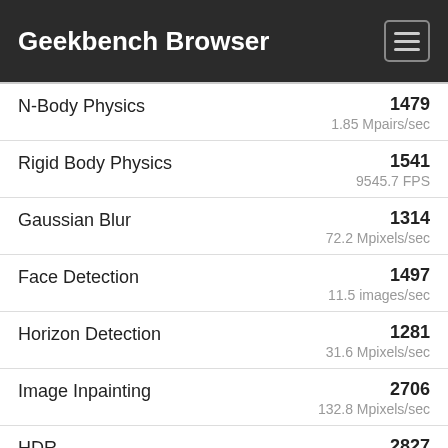Geekbench Browser
| Benchmark | Score | Unit |
| --- | --- | --- |
| N-Body Physics | 1479 | 1.85 Mpairs/sec |
| Rigid Body Physics | 1541 | 9545.7 FPS |
| Gaussian Blur | 1314 | 72.2 Mpixels/sec |
| Face Detection | 1497 | 11.5 images/sec |
| Horizon Detection | 1281 | 31.6 Mpixels/sec |
| Image Inpainting | 2706 | 132.8 Mpixels/sec |
| HDR | 2827 | 38.5 Mpixels/sec |
| Ray Tracing | 1998 |  |